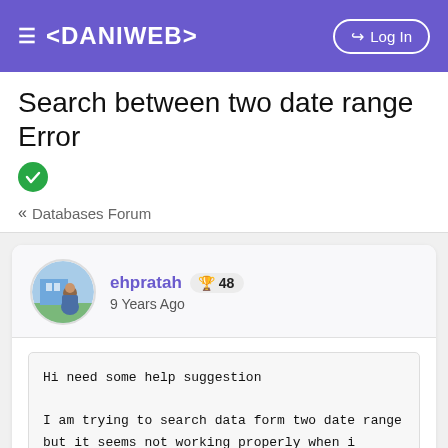≡ <DANIWEB>  →) Log In
Search between two date range Error ✓
« Databases Forum
ehpratah 🏆 48
9 Years Ago
Hi need some help suggestion

I am trying to search data form two date range but it seems not working properly when i search for


$from_date = "2013-04-01";